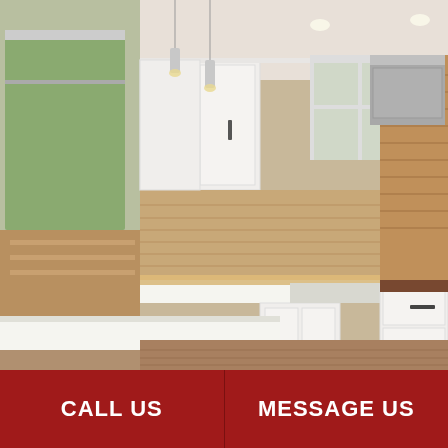[Figure (photo): Interior photo of a modern renovated kitchen with white shaker-style cabinets, white quartz countertops, a large kitchen island, stainless steel range hood, stone tile backsplash with warm lighting underneath the upper cabinets, pendant lights hanging from the ceiling, double sink under a window, dark hardwood flooring, and views of green trees through windows and a sliding glass door on the left.]
CALL US
MESSAGE US